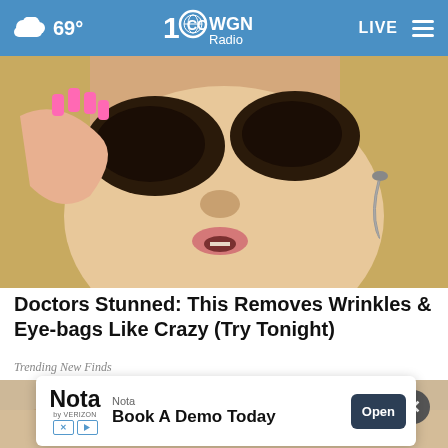69° WGN Radio LIVE
[Figure (photo): Close-up of a blonde woman applying dark coffee grounds around her eyes with pink manicured nails, wearing a dangling earring]
Doctors Stunned: This Removes Wrinkles & Eye-bags Like Crazy (Try Tonight)
Trending New Finds
[Figure (photo): Close-up of a foot/skin area, partially obscured by an advertisement overlay]
Nota Book A Demo Today Open